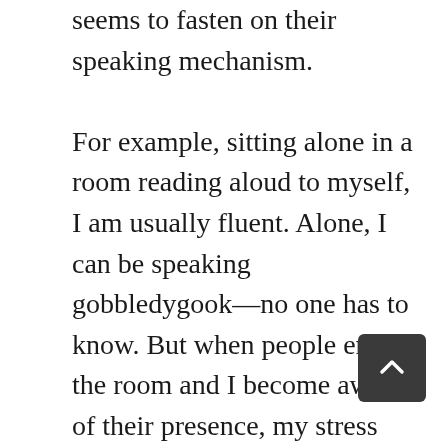seems to fasten on their speaking mechanism.

For example, sitting alone in a room reading aloud to myself, I am usually fluent. Alone, I can be speaking gobbledygook—no one has to know. But when people enter the room and I become aware of their presence, my stress shoots up. With listeners, I'm transformed into a performer with something to communicate, my words take on weight. My listeners, the way I perceive them, also becomes my critics,